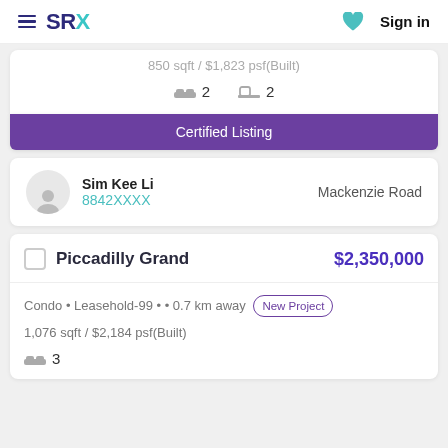SRX — Sign in
850 sqft / $1,823 psf(Built)
2 beds  2 baths
Certified Listing
Sim Kee Li
8842XXXX
Mackenzie Road
Piccadilly Grand  $2,350,000
Condo • Leasehold-99 • • 0.7 km away  New Project
1,076 sqft / $2,184 psf(Built)
3 beds